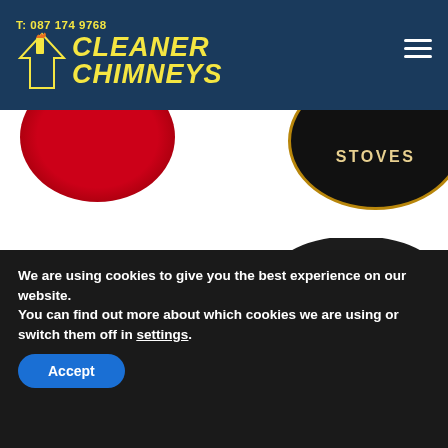T: 087 174 9768 | CLEANER CHIMNEYS
[Figure (screenshot): Partial brand logo circles: red circle on left, dark circle with gold border and text STOVES on right]
HENLEY
[Figure (logo): Black oval with Blacksmith® text in gold italic script]
We are using cookies to give you the best experience on our website.
You can find out more about which cookies we are using or switch them off in settings.
Accept